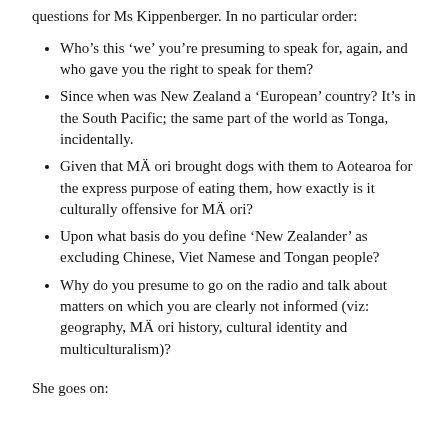questions for Ms Kippenberger. In no particular order:
Who’s this ‘we’ you’re presuming to speak for, again, and who gave you the right to speak for them?
Since when was New Zealand a ‘European’ country? It’s in the South Pacific; the same part of the world as Tonga, incidentally.
Given that MÄ ori brought dogs with them to Aotearoa for the express purpose of eating them, how exactly is it culturally offensive for MÄ ori?
Upon what basis do you define ‘New Zealander’ as excluding Chinese, Viet Namese and Tongan people?
Why do you presume to go on the radio and talk about matters on which you are clearly not informed (viz: geography, MÄ ori history, cultural identity and multiculturalism)?
She goes on: